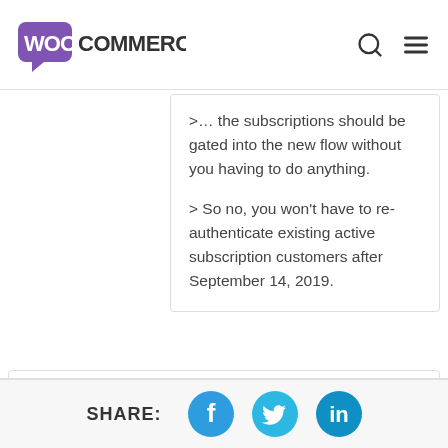WooCommerce
>… the subscriptions should be gated into the new flow without you having to do anything.

> So no, you won't have to re-authenticate existing active subscription customers after September 14, 2019.
Rifat
June 15, 2019 at 3:45 am #
Great, I'm excited.
SHARE: